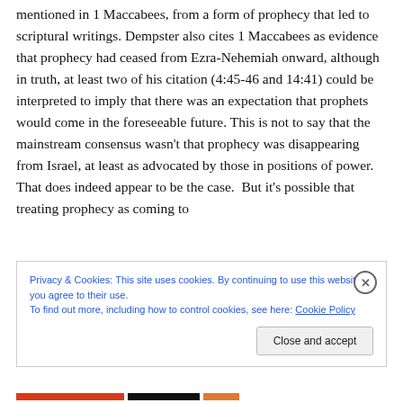mentioned in 1 Maccabees, from a form of prophecy that led to scriptural writings. Dempster also cites 1 Maccabees as evidence that prophecy had ceased from Ezra-Nehemiah onward, although in truth, at least two of his citation (4:45-46 and 14:41) could be interpreted to imply that there was an expectation that prophets would come in the foreseeable future. This is not to say that the mainstream consensus wasn't that prophecy was disappearing from Israel, at least as advocated by those in positions of power. That does indeed appear to be the case.  But it's possible that treating prophecy as coming to
Privacy & Cookies: This site uses cookies. By continuing to use this website, you agree to their use.
To find out more, including how to control cookies, see here: Cookie Policy
Close and accept